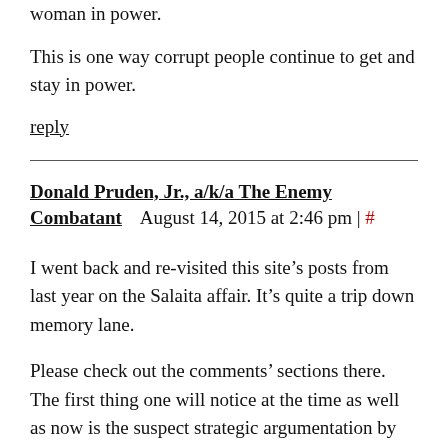woman in power.
This is one way corrupt people continue to get and stay in power.
reply
Donald Pruden, Jr., a/k/a The Enemy Combatant    August 14, 2015 at 2:46 pm | #
I went back and re-visited this site's posts from last year on the Salaita affair. It's quite a trip down memory lane.
Please check out the comments' sections there. The first thing one will notice at the time as well as now is the suspect strategic argumentation by those defending UIUC and Chancellor Wise, and